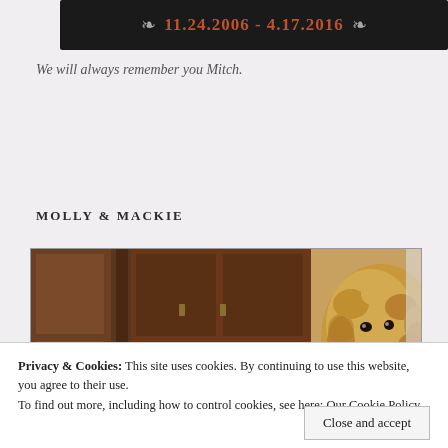[Figure (photo): Dark banner with wing decorations on left and right, displaying the dates 11.24.2006 - 4.17.2016 in orange-red text on a black background]
We will always remember you Mitch.
MOLLY & MACKIE
[Figure (photo): Photo of an Airedale Terrier dog with curly tan and brown fur, looking at the camera, with dark wooden cabinet/paneling in the background]
Privacy & Cookies: This site uses cookies. By continuing to use this website, you agree to their use.
To find out more, including how to control cookies, see here: Our Cookie Policy
Close and accept